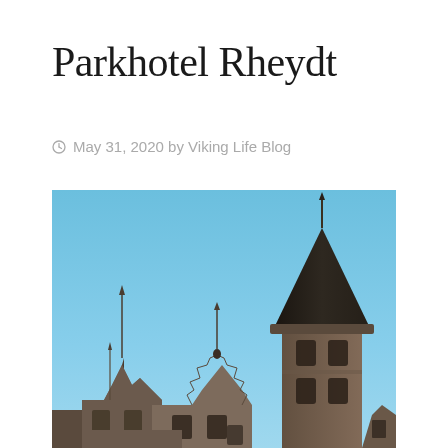Parkhotel Rheydt
May 31, 2020 by Viking Life Blog
[Figure (photo): Photograph of the tops of historic Germanic/Dutch-style buildings with ornate stepped gable architecture and a prominent tower with a dark conical spire, shot from below against a clear blue sky. The buildings show reddish-brown brick and stone facades with decorative weathervanes on the spires.]